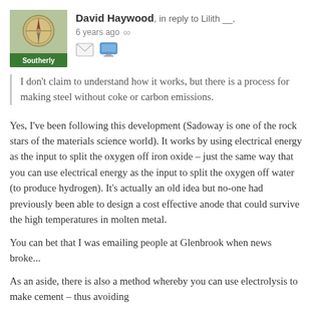David Haywood, in reply to Lilith __, 6 years ago ∞
[Figure (illustration): Avatar image with compass/map illustration and green 'Southerly' label at bottom, with email and monitor icons below]
I don't claim to understand how it works, but there is a process for making steel without coke or carbon emissions.
Yes, I've been following this development (Sadoway is one of the rock stars of the materials science world). It works by using electrical energy as the input to split the oxygen off iron oxide – just the same way that you can use electrical energy as the input to split the oxygen off water (to produce hydrogen). It's actually an old idea but no-one had previously been able to design a cost effective anode that could survive the high temperatures in molten metal.
You can bet that I was emailing people at Glenbrook when news broke...
As an aside, there is also a method whereby you can use electrolysis to make cement – thus avoiding all the CO₂ emissions. But don't it doesn't